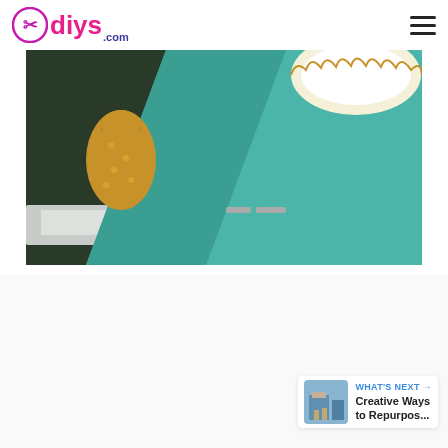diys.com
[Figure (photo): Close-up photo of teal/turquoise fabric being folded over an ironing board with a white frame. A yellow patterned fabric scissors holder is visible on the left and yellow/white lace doily is visible in top right corner.]
[Figure (infographic): Like/heart button (blue circle with white heart icon), count of 1, and share button (blue circle with share icon) on the right side of the page]
[Figure (photo): Small thumbnail image of a creative repurposing DIY project]
WHAT'S NEXT → Creative Ways to Repurpos...